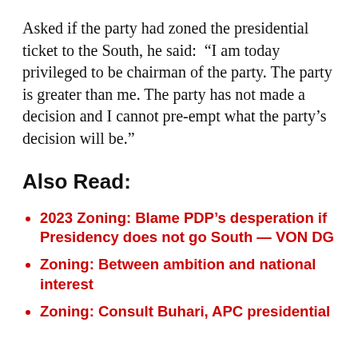Asked if the party had zoned the presidential ticket to the South, he said:  “I am today privileged to be chairman of the party. The party is greater than me. The party has not made a decision and I cannot pre-empt what the party’s decision will be.”
Also Read:
2023 Zoning: Blame PDP’s desperation if Presidency does not go South — VON DG
Zoning: Between ambition and national interest
Zoning: Consult Buhari, APC presidential